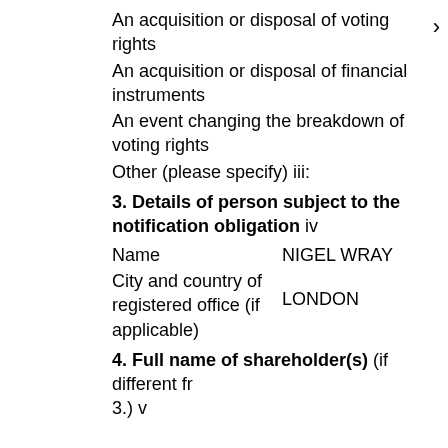An acquisition or disposal of voting rights
An acquisition or disposal of financial instruments
An event changing the breakdown of voting rights
Other (please specify) iii:
3. Details of person subject to the notification obligation iv
Name   NIGEL WRAY
City and country of registered office (if applicable)   LONDON
4. Full name of shareholder(s) (if different from 3.) v